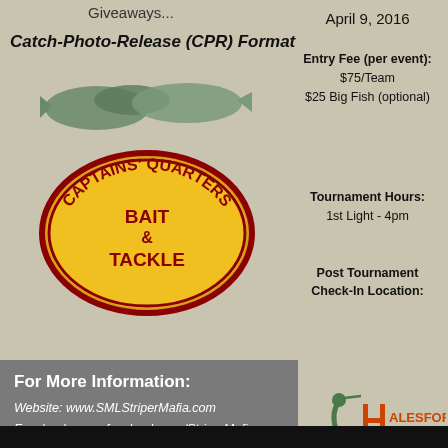Giveaways...
Catch-Photo-Release (CPR) Format
April 9, 2016
Entry Fee (per event): $75/Team $25 Big Fish (optional)
Tournament Hours: 1st Light - 4pm
Post Tournament Check-In Location:
[Figure (logo): Captains' Quarters Bait & Tackle logo - yellow oval with red text and fish illustration]
For More Information: Website: www.SMLStriperMafia.com Facebook: www.facebook.com/StriperMafia E-mail: stripermafia@gmail.com
[Figure (logo): Halesford Harbour Inn logo with heron bird and orange text]
mwardncsu
Global Moderator
Sep 17, 2015 at 3:58pm
Quote
[Figure (photo): Avatar photo of user mwardncsu holding a fish]
Just for clarification - the entry fee is $75 per team - per tournament - NOT a one-time for the full series.... same with the optional Big Fish pot. Also, you don't have to be able to fish all the events to participate, or fish with the